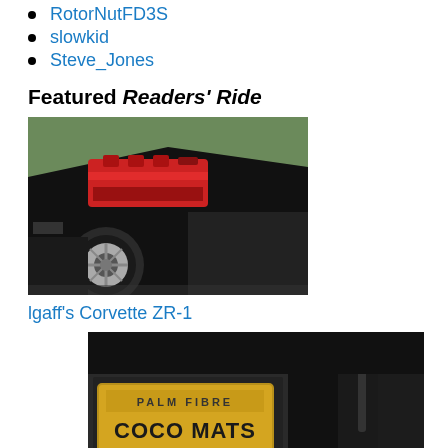RotorNutFD3S
slowkid
Steve_Jones
Featured Readers' Ride
[Figure (photo): Black sports car (Corvette ZR-1) with hood open showing red engine, photographed from front-left angle in an outdoor setting with green hedge in background.]
lgaff's Corvette ZR-1
[Figure (photo): Interior shot of a car showing Coco Mats floor mat with yellow and black label reading PALM FIBRE COCO MATS, gear shifter visible on right side.]